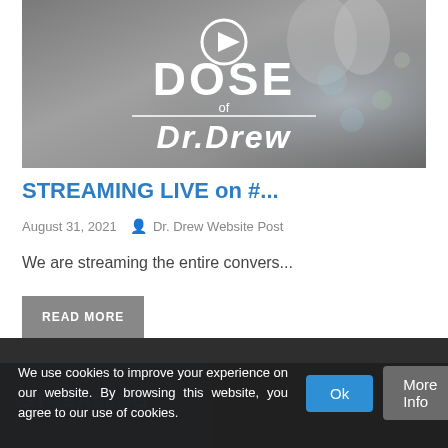[Figure (photo): Thumbnail image showing 'Dose of Dr. Drew' show with a play button icon and two people smiling in the background.]
STREAMING LIVE on #...
August 31, 2021   Dr. Drew Website Post
We are streaming the entire convers...
READ MORE
[Figure (photo): Partial next article thumbnail, partially obscured by cookie banner.]
We use cookies to improve your experience on our website. By browsing this website, you agree to our use of cookies.
Ok   More Info